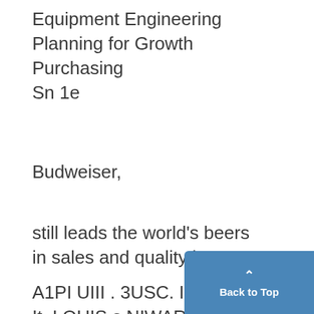Equipment Engineering
Planning for Growth
Purchasing
Sn 1e
Budweiser,
still leads the world's beers
in sales and quality because
A1PI UIII . 3USC. IMC.
!t. LOUIS s NIWARK * LOS ANGELES